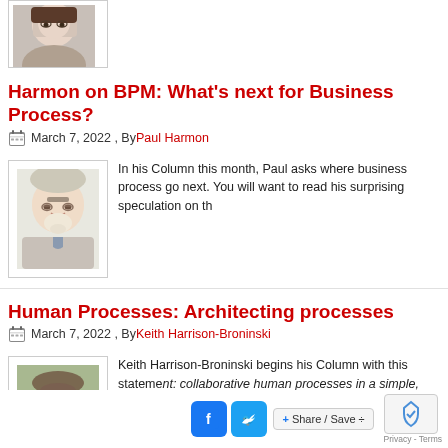[Figure (photo): Partial headshot of a woman with glasses, cropped at top of page]
Harmon on BPM: What’s next for Business Process?
March 7, 2022 , By Paul Harmon
[Figure (photo): Headshot of an older man with white beard and glasses wearing a suit]
In his Column this month, Paul asks where business process go next. You will want to read his surprising speculation on th
Human Processes: Architecting processes
March 7, 2022 , By Keith Harrison-Broninski
[Figure (photo): Headshot of a middle-aged man in a suit with a flowered shirt]
Keith Harrison-Broninski begins his Column with this statement: collaborative human processes in a simple, sensible way. It’s about what precisely he meant. Well, he reveals